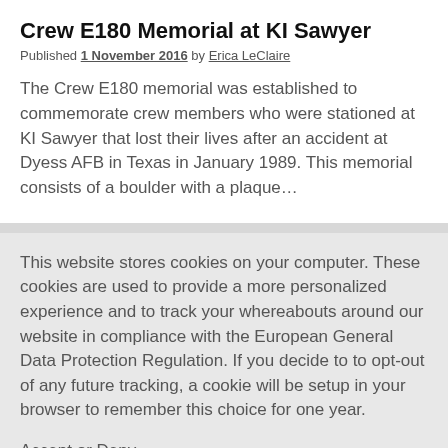Crew E180 Memorial at KI Sawyer
Published 1 November 2016 by Erica LeClaire
The Crew E180 memorial was established to commemorate crew members who were stationed at KI Sawyer that lost their lives after an accident at Dyess AFB in Texas in January 1989. This memorial consists of a boulder with a plaque…
This website stores cookies on your computer. These cookies are used to provide a more personalized experience and to track your whereabouts around our website in compliance with the European General Data Protection Regulation. If you decide to to opt-out of any future tracking, a cookie will be setup in your browser to remember this choice for one year.
Accept or Deny